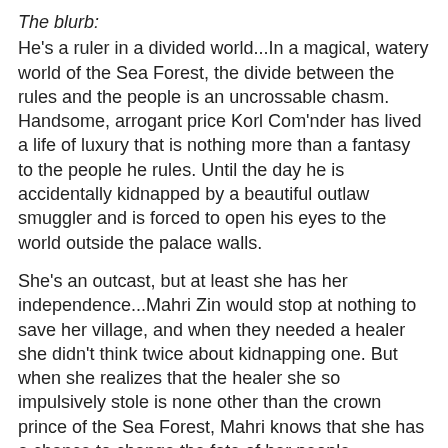The blurb:
He's a ruler in a divided world...In a magical, watery world of the Sea Forest, the divide between the rules and the people is an uncrossable chasm.  Handsome, arrogant price Korl Com'nder has lived a life of luxury that is nothing more than a fantasy to the people he rules.  Until the day he is accidentally kidnapped by a beautiful outlaw smuggler and is forced to open his eyes to the world outside the palace walls.
She's an outcast, but at least she has her independence...Mahri Zin would stop at nothing to save her village, and when they needed a healer she didn't think twice about kidnapping one.  But when she realizes that the healer she so impulsively stole is none other than the crown prince of the Sea Forest, Mahri knows that she has a chance to change the fate of her people...
Review:
Romance novels are a bit silly and Kathryne Kennedy isn't afraid to take risks.  If you're willing to dive into this world where magical powers exist and can be harvested, harnessed through the consumption of special rare foods --